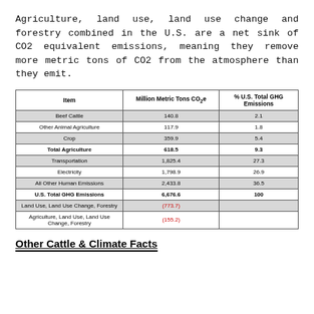Agriculture, land use, land use change and forestry combined in the U.S. are a net sink of CO2 equivalent emissions, meaning they remove more metric tons of CO2 from the atmosphere than they emit.
| Item | Million Metric Tons CO₂e | % U.S. Total GHG Emissions |
| --- | --- | --- |
| Beef Cattle | 140.8 | 2.1 |
| Other Animal Agriculture | 117.9 | 1.8 |
| Crop | 359.9 | 5.4 |
| Total Agriculture | 618.5 | 9.3 |
| Transportation | 1,825.4 | 27.3 |
| Electricity | 1,798.9 | 26.9 |
| All Other Human Emissions | 2,433.8 | 36.5 |
| U.S. Total GHG Emissions | 6,676.6 | 100 |
| Land Use, Land Use Change, Forestry | (773.7) |  |
| Agriculture, Land Use, Land Use Change, Forestry | (155.2) |  |
Other Cattle & Climate Facts